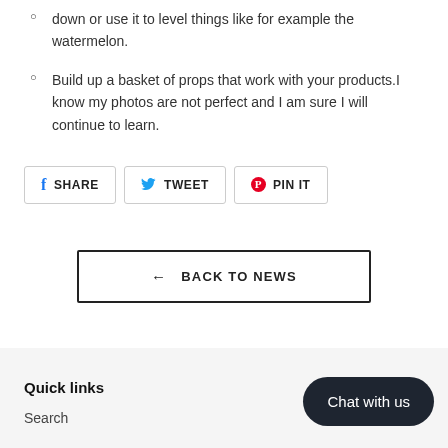down or use it to level things like for example the watermelon.
Build up a basket of props that work with your products.I know my photos are not perfect and I am sure I will continue to learn.
[Figure (other): Social sharing buttons: SHARE (Facebook), TWEET (Twitter), PIN IT (Pinterest)]
[Figure (other): Back to News button with left arrow]
Quick links
Search
[Figure (other): Chat with us button (dark rounded pill shape)]